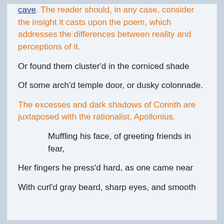cave. The reader should, in any case, consider the insight it casts upon the poem, which addresses the differences between reality and perceptions of it.
Or found them cluster'd in the corniced shade
Of some arch'd temple door, or dusky colonnade.
The excesses and dark shadows of Corinth are juxtaposed with the rationalist, Apollonius.
Muffling his face, of greeting friends in fear,
Her fingers he press'd hard, as one came near
With curl'd gray beard, sharp eyes, and smooth